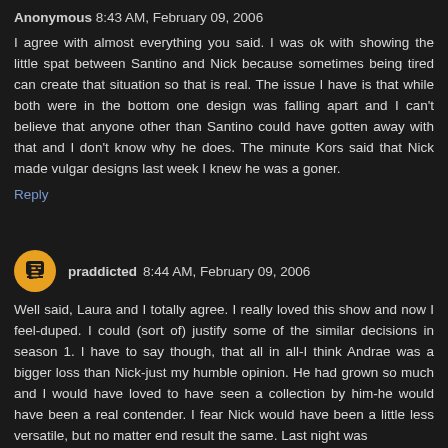Anonymous 8:43 AM, February 09, 2006
I agree with almost everything you said. I was ok with showing the little spat between Santino and Nick because sometimes being tired can create that situation so that is real. The issue I have is that while both were in the bottom one design was falling apart and I can't believe that anyone other than Santino could have gotten away with that and I don't know why he does. The minute Kors said that Nick made vulgar designs last week I knew he was a goner.
Reply
praddicted 8:44 AM, February 09, 2006
Well said, Laura and I totally agree. I really loved this show and now I feel-duped. I could (sort of) justify some of the similar decisions in season 1. I have to say though, that all in all-I think Andrae was a bigger loss than Nick-just my humble opinion. He had grown so much and I would have loved to have seen a collection by him-he would have been a real contender. I fear Nick would have been a little less versatile, but no matter end result the same. Last night was